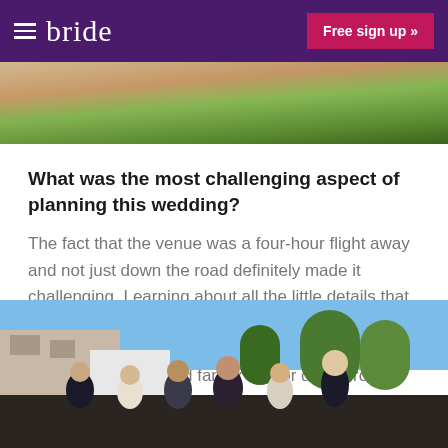bride  Free sign up »
[Figure (photo): Top portion of an outdoor wedding photo showing green grass and guests]
What was the most challenging aspect of planning this wedding?
The fact that the venue was a four-hour flight away and not just down the road definitely made it challenging. Learning about all the little details that you'd never thought about before – and how much they make the wedding. Also bringing everyone together – guests and family flew or drove from 10 different countries.
[Figure (photo): Group photo of wedding guests laughing and celebrating outdoors, with trees and a building in the background]